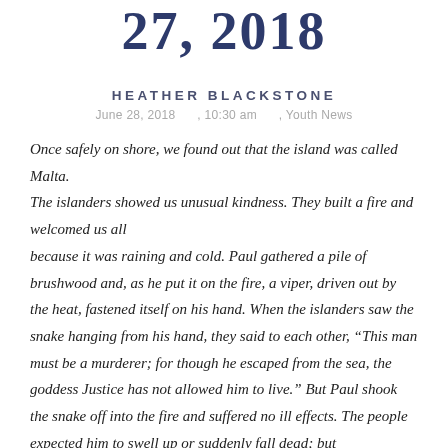27, 2018
HEATHER BLACKSTONE
June 28, 2018     , 10:30 am     , Youth News
Once safely on shore, we found out that the island was called Malta. The islanders showed us unusual kindness. They built a fire and welcomed us all because it was raining and cold. Paul gathered a pile of brushwood and, as he put it on the fire, a viper, driven out by the heat, fastened itself on his hand. When the islanders saw the snake hanging from his hand, they said to each other, “This man must be a murderer; for though he escaped from the sea, the goddess Justice has not allowed him to live.” But Paul shook the snake off into the fire and suffered no ill effects. The people expected him to swell up or suddenly fall dead; but